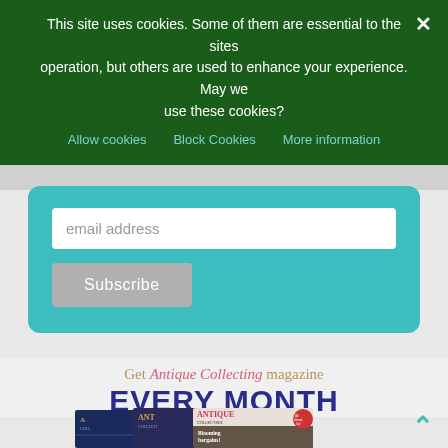This site uses cookies. Some of them are essential to the sites operation, but others are used to enhance your experience. May we use these cookies?
Allow cookies  Block Cookies  More information
[Figure (screenshot): Email address input field with Subscribe button on teal background]
Get Antique Collecting magazine EVERY MONTH
[Figure (photo): Stacked issues of Antique Collecting magazine showing covers including 'Blooming bargains!' issue]